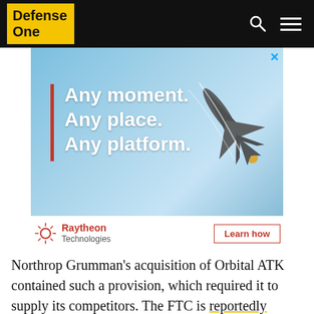Defense One
[Figure (photo): Advertisement banner for Raytheon Technologies featuring an F-35 fighter jet on a blue sky background with text: Any moment. Any place. Any platform. Raytheon Technologies logo and 'Learn how' button below.]
Northrop Grumman's acquisition of Orbital ATK contained such a provision, which required it to supply its competitors. The FTC is reportedly investigating whether the company is adhering to that provision.
Raytheon, which is headquartered in Warren's home